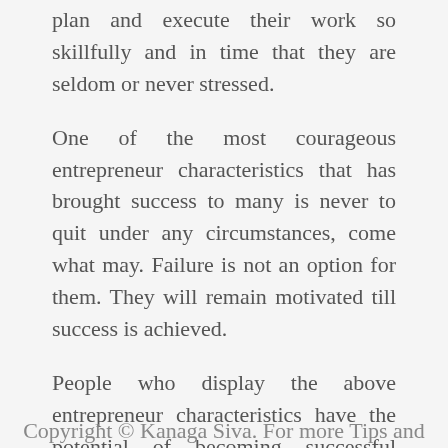plan and execute their work so skillfully and in time that they are seldom or never stressed.
One of the most courageous entrepreneur characteristics that has brought success to many is never to quit under any circumstances, come what may. Failure is not an option for them. They will remain motivated till success is achieved.
People who display the above entrepreneur characteristics have the potential of becoming successful entrepreneurs. If you think you possess most of these characteristics why not go ahead and become an entrepreneur.
Copyright © Kanaga Siva. For more Tips and